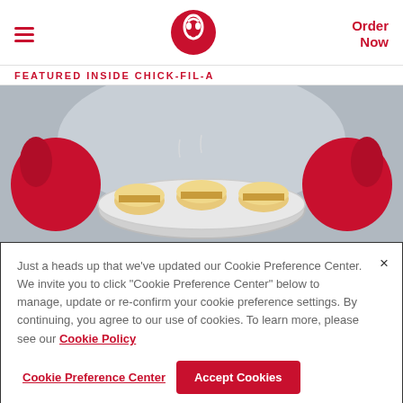FEATURED INSIDE CHICK-FIL-A | Order Now
[Figure (photo): Person wearing red mittens holding a foil tray of small biscuit sandwiches]
Just a heads up that we've updated our Cookie Preference Center. We invite you to click "Cookie Preference Center" below to manage, update or re-confirm your cookie preference settings. By continuing, you agree to our use of cookies. To learn more, please see our Cookie Policy
Cookie Preference Center | Accept Cookies